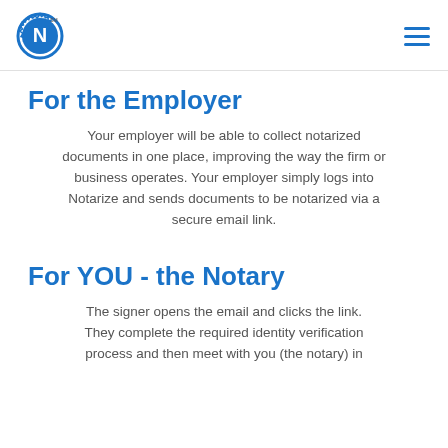Notarize logo and navigation menu
For the Employer
Your employer will be able to collect notarized documents in one place, improving the way the firm or business operates. Your employer simply logs into Notarize and sends documents to be notarized via a secure email link.
For YOU - the Notary
The signer opens the email and clicks the link. They complete the required identity verification process and then meet with you (the notary) in